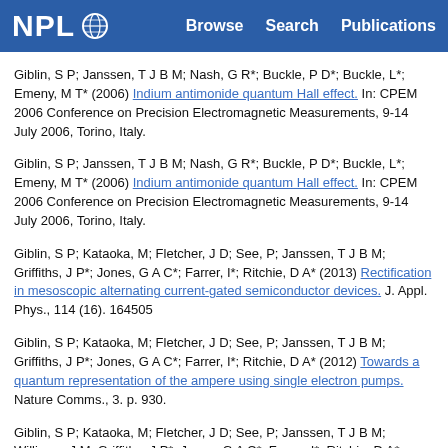NPL | Browse  Search  Publications
Giblin, S P; Janssen, T J B M; Nash, G R*; Buckle, P D*; Buckle, L*; Emeny, M T* (2006) Indium antimonide quantum Hall effect. In: CPEM 2006 Conference on Precision Electromagnetic Measurements, 9-14 July 2006, Torino, Italy.
Giblin, S P; Janssen, T J B M; Nash, G R*; Buckle, P D*; Buckle, L*; Emeny, M T* (2006) Indium antimonide quantum Hall effect. In: CPEM 2006 Conference on Precision Electromagnetic Measurements, 9-14 July 2006, Torino, Italy.
Giblin, S P; Kataoka, M; Fletcher, J D; See, P; Janssen, T J B M; Griffiths, J P*; Jones, G A C*; Farrer, I*; Ritchie, D A* (2013) Rectification in mesoscopic alternating current-gated semiconductor devices. J. Appl. Phys., 114 (16). 164505
Giblin, S P; Kataoka, M; Fletcher, J D; See, P; Janssen, T J B M; Griffiths, J P*; Jones, G A C*; Farrer, I*; Ritchie, D A* (2012) Towards a quantum representation of the ampere using single electron pumps. Nature Comms., 3. p. 930.
Giblin, S P; Kataoka, M; Fletcher, J D; See, P; Janssen, T J B M; Williams, J M; Griffiths, J P*; Jones, G A C*; Farrer, I*; Ritchie, D A* (2012) Part-per-million current accuracy in the tunable-barrier electron pump. In: 2012